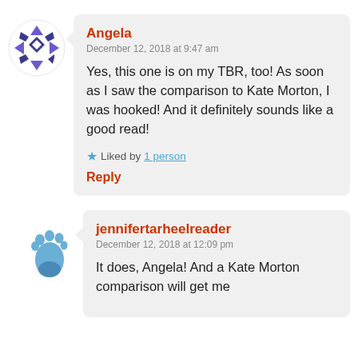Angela
December 12, 2018 at 9:47 am

Yes, this one is on my TBR, too! As soon as I saw the comparison to Kate Morton, I was hooked! And it definitely sounds like a good read!

Liked by 1 person

Reply
jennifertarheelreader
December 12, 2018 at 12:09 pm

It does, Angela! And a Kate Morton comparison will get me